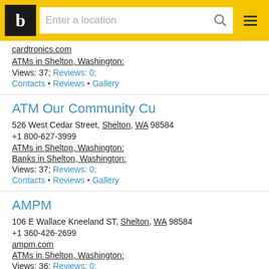b [logo] | Enter a location [search]
cardtronics.com
ATMs in Shelton, Washington;
Views: 37; Reviews: 0;
Contacts • Reviews • Gallery
ATM Our Community Cu
526 West Cedar Street, Shelton, WA 98584
+1 800-627-3999
ATMs in Shelton, Washington;
Banks in Shelton, Washington;
Views: 37; Reviews: 0;
Contacts • Reviews • Gallery
AMPM
106 E Wallace Kneeland ST, Shelton, WA 98584
+1 360-426-2699
ampm.com
ATMs in Shelton, Washington;
Views: 36; Reviews: 0;